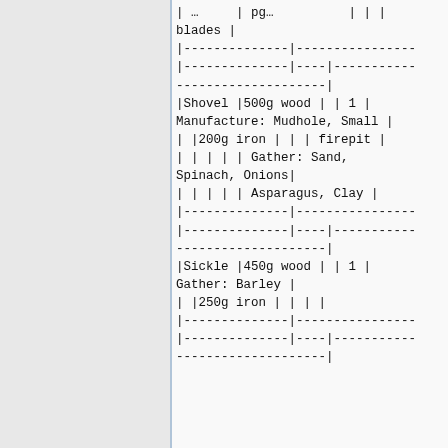|  | blades | |
| |--------------|---------------- | |--------------|----|----------- | --------------------| |
| |Shovel |500g wood | | 1 | | Manufacture: Mudhole, Small | |
| | |200g iron | | | firepit | |
| | | | | | Gather: Sand, | Spinach, Onions| |
| | | | | | Asparagus, Clay | |
| |--------------|---------------- | |--------------|----|----------- | --------------------| |
| |Sickle |450g wood | | 1 | | Gather: Barley | |
| | |250g iron | | | | |
| |--------------|---------------- | |--------------|----|----------- | --------------------| |